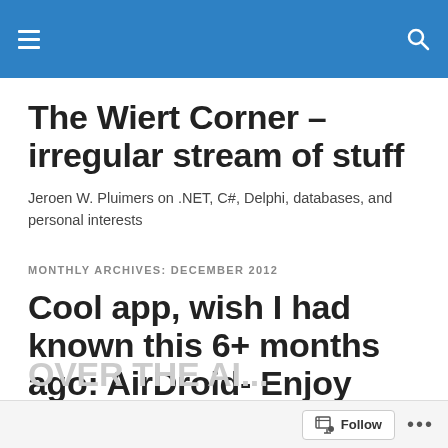The Wiert Corner – irregular stream of stuff [navigation bar]
The Wiert Corner – irregular stream of stuff
Jeroen W. Pluimers on .NET, C#, Delphi, databases, and personal interests
MONTHLY ARCHIVES: DECEMBER 2012
Cool app, wish I had known this 6+ months ago: AirDroid- Enjoy your Android Experience
Follow ...